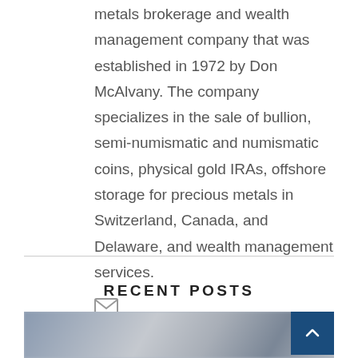metals brokerage and wealth management company that was established in 1972 by Don McAlvany. The company specializes in the sale of bullion, semi-numismatic and numismatic coins, physical gold IRAs, offshore storage for precious metals in Switzerland, Canada, and Delaware, and wealth management services.
[Figure (other): Email envelope icon]
RECENT POSTS
[Figure (photo): Blurred photo of US dollar bills and financial documents]